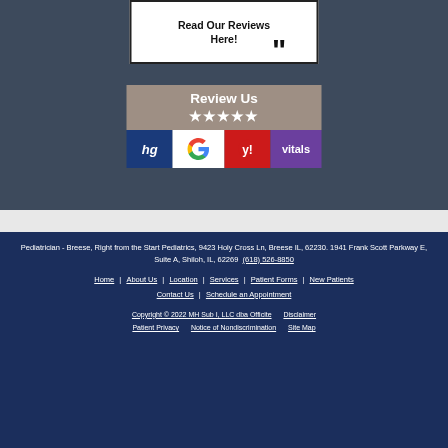[Figure (screenshot): Review Us widget with star rating and logos for Healthgrades, Google, Yelp, and Vitals review platforms on a dark blue-gray background. Top portion shows a white box with 'Read Our Reviews Here!' text and a closing quotation mark. Below is a 'Review Us' banner with 5 gold stars and four review platform logos.]
Pediatrician - Breese, Right from the Start Pediatrics, 9423 Holy Cross Ln, Breese IL, 62230. 1941 Frank Scott Parkway E, Suite A, Shiloh, IL, 62269  (618) 526-8850
Home | About Us | Location | Services | Patient Forms | New Patients | Contact Us | Schedule an Appointment
Copyright © 2022 MH Sub I, LLC dba Officite   Disclaimer   Patient Privacy   Notice of Nondiscrimination   Site Map